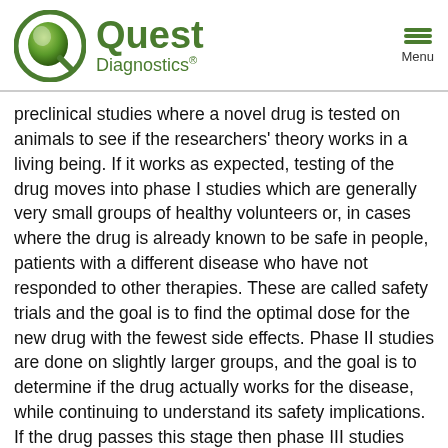[Figure (logo): Quest Diagnostics logo — green circular Q icon on the left, 'Quest' in large green bold text and 'Diagnostics®' below in smaller green text on the right]
preclinical studies where a novel drug is tested on animals to see if the researchers' theory works in a living being. If it works as expected, testing of the drug moves into phase I studies which are generally very small groups of healthy volunteers or, in cases where the drug is already known to be safe in people, patients with a different disease who have not responded to other therapies. These are called safety trials and the goal is to find the optimal dose for the new drug with the fewest side effects. Phase II studies are done on slightly larger groups, and the goal is to determine if the drug actually works for the disease, while continuing to understand its safety implications. If the drug passes this stage then phase III studies are started. These are generally large studies that span several years and look to determine if the new drug works better than the existing